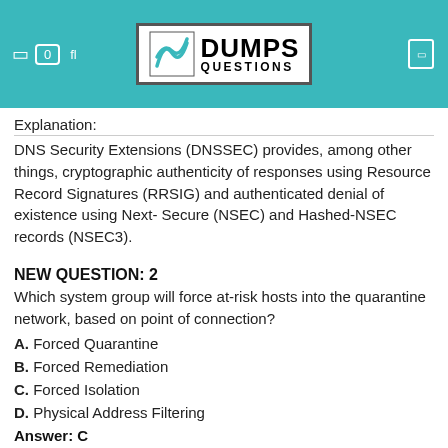DUMPS QUESTIONS
Explanation:
DNS Security Extensions (DNSSEC) provides, among other things, cryptographic authenticity of responses using Resource Record Signatures (RRSIG) and authenticated denial of existence using Next- Secure (NSEC) and Hashed-NSEC records (NSEC3).
NEW QUESTION: 2
Which system group will force at-risk hosts into the quarantine network, based on point of connection?
A. Forced Quarantine
B. Forced Remediation
C. Forced Isolation
D. Physical Address Filtering
Answer: C